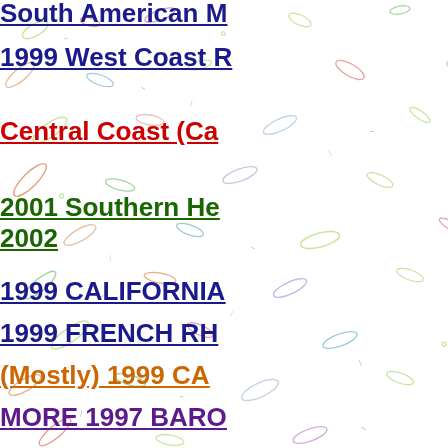South American M...
1999 West Coast R...
Central Coast (Ca...
2001 Southern He... 2002
1999 CALIFORNIA...
1999 FRENCH RH...
(Mostly) 1999 CA...
MORE 1997 BARO...
1997 Late-Release...
1997 BAROLO  Oc...
1985-1990 RED BU...
1998 Grand Crus ...
PRIORAT WINES ...